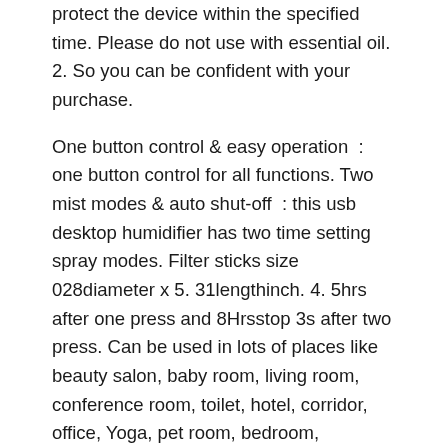protect the device within the specified time. Please do not use with essential oil. 2. So you can be confident with your purchase.
One button control & easy operation : one button control for all functions. Two mist modes & auto shut-off : this usb desktop humidifier has two time setting spray modes. Filter sticks size  028diameter x 5. 31lengthinch. 4. 5hrs after one press and 8Hrsstop 3s after two press. Can be used in lots of places like beauty salon, baby room, living room, conference room, toilet, hotel, corridor, office, Yoga, pet room, bedroom, reception center, SPA, hospital or any other privator public places.
Mini Humidifier with USB Cool Mist Humidifier for...